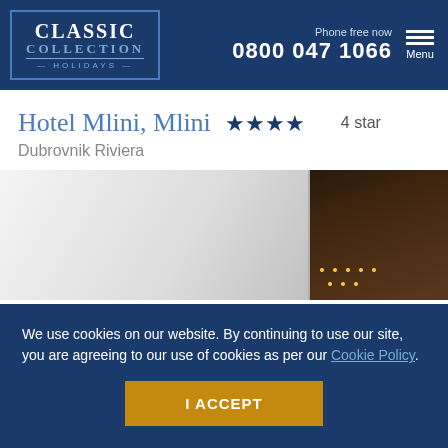CLASSIC COLLECTION HOLIDAYS — Phone free now 0800 047 1066 Menu
Hotel Mlini, Mlini ★★★★ 4 star
Dubrovnik Riviera
[Figure (photo): Interior hotel image showing a light-colored room on the left and a dark wood-paneled ceiling with recessed lights on the right]
We use cookies on our website. By continuing to use our site, you are agreeing to our use of cookies as per our Cookie Policy.
I ACCEPT